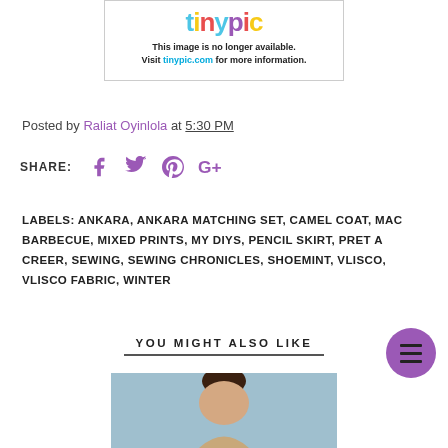[Figure (other): Tinypic placeholder image: logo and message 'This image is no longer available. Visit tinypic.com for more information.']
Posted by Raliat Oyinlola at 5:30 PM
SHARE:
LABELS: ANKARA, ANKARA MATCHING SET, CAMEL COAT, MAC BARBECUE, MIXED PRINTS, MY DIYS, PENCIL SKIRT, PRET A CREER, SEWING, SEWING CHRONICLES, SHOEMINT, VLISCO, VLISCO FABRIC, WINTER
YOU MIGHT ALSO LIKE
[Figure (photo): Bottom portion of a photo showing a person with dark hair outdoors in a winter/cool setting]